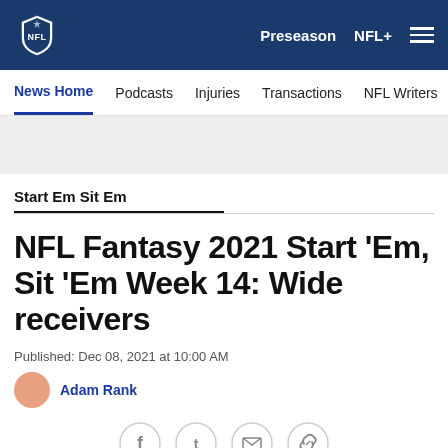NFL | Preseason | NFL+
News Home | Podcasts | Injuries | Transactions | NFL Writers | Se
Start Em Sit Em
NFL Fantasy 2021 Start 'Em, Sit 'Em Week 14: Wide receivers
Published: Dec 08, 2021 at 10:00 AM
Adam Rank